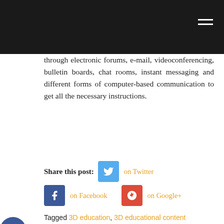through electronic forums, e-mail, videoconferencing, bulletin boards, chat rooms, instant messaging and different forms of computer-based communication to get all the necessary instructions.
Share this post: on Twitter on Facebook on Google+
Tagged 3D education, 3D educational content
Related Posts
Important Safety Tips for Developing a Building